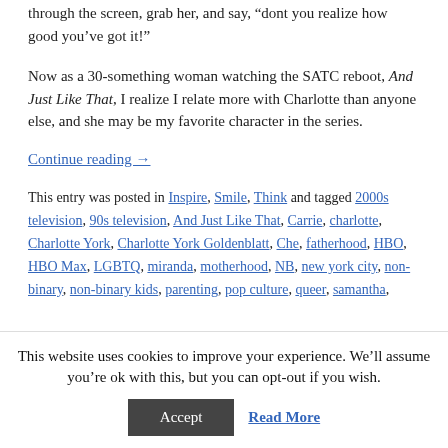through the screen, grab her, and say, “dont you realize how good you've got it!”
Now as a 30-something woman watching the SATC reboot, And Just Like That, I realize I relate more with Charlotte than anyone else, and she may be my favorite character in the series.
Continue reading →
This entry was posted in Inspire, Smile, Think and tagged 2000s television, 90s television, And Just Like That, Carrie, charlotte, Charlotte York, Charlotte York Goldenblatt, Che, fatherhood, HBO, HBO Max, LGBTQ, miranda, motherhood, NB, new york city, non-binary, non-binary kids, parenting, pop culture, queer, samantha,
This website uses cookies to improve your experience. We’ll assume you’re ok with this, but you can opt-out if you wish.
Accept
Read More